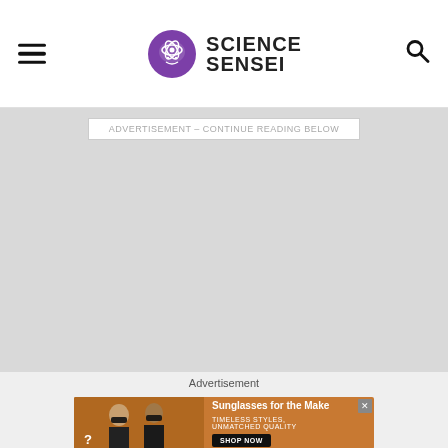Science Sensei
ADVERTISEMENT - CONTINUE READING BELOW
[Figure (other): Large gray advertisement placeholder area]
Advertisement
[Figure (other): Sunglasses advertisement banner with two women wearing sunglasses, text: Sunglasses for the Make, TIMELESS STYLES, UNMATCHED QUALITY, SHOP NOW button]